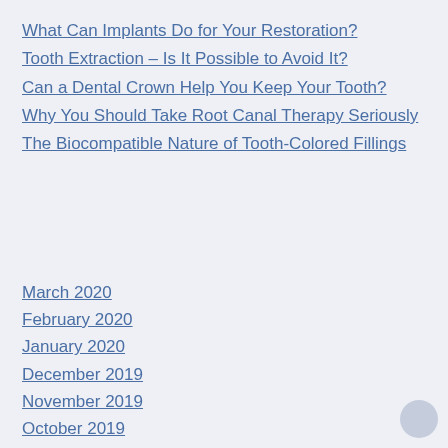What Can Implants Do for Your Restoration?
Tooth Extraction – Is It Possible to Avoid It?
Can a Dental Crown Help You Keep Your Tooth?
Why You Should Take Root Canal Therapy Seriously
The Biocompatible Nature of Tooth-Colored Fillings
March 2020
February 2020
January 2020
December 2019
November 2019
October 2019
September 2019
August 2019
July 2019